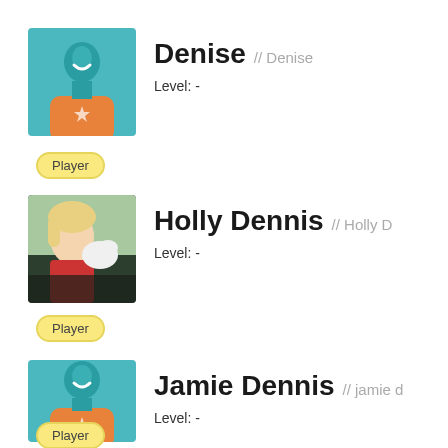[Figure (illustration): Avatar placeholder: teal background with white silhouette figure wearing orange shirt]
Denise // Denise
Level: -
Player
[Figure (photo): Photo of Holly Dennis: woman with light hair holding a small white dog, outdoors]
Holly Dennis // Holly D
Level: -
Player
[Figure (illustration): Avatar placeholder: teal background with white silhouette figure wearing orange shirt]
Jamie Dennis // jamie d
Level: -
Player